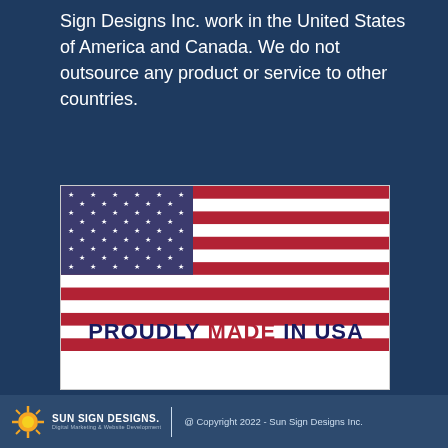Sign Designs Inc. work in the United States of America and Canada. We do not outsource any product or service to other countries.
[Figure (illustration): American flag illustration above text 'PROUDLY MADE IN USA' where MADE is in red and the rest is in dark navy blue. The flag shows the standard US flag design with stars canton and red/white stripes.]
@ Copyright 2022 - Sun Sign Designs Inc.